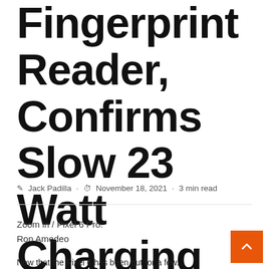Fingerprint Reader, Confirms Slow 23 Watt Charging
Jack Padilla · November 18, 2021 · 3 min read
Zoom in / Pixel 6 Pro.
Ron Amedeo
Now that the Pixel 6 has been out for a few...